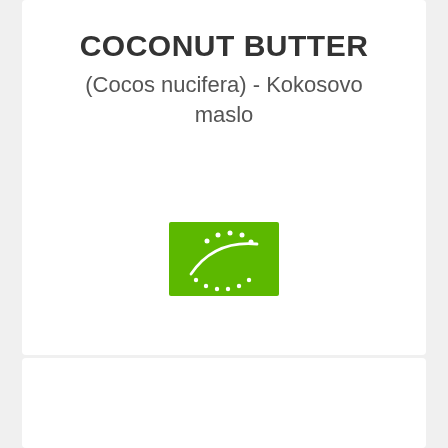COCONUT BUTTER
(Cocos nucifera) - Kokosovo maslo
[Figure (logo): EU Organic certification logo — green rectangle with white leaf/star design]